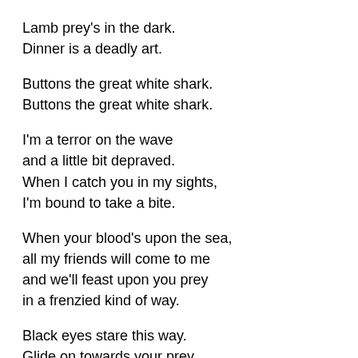Lamb prey's in the dark.
Dinner is a deadly art.
Buttons the great white shark.
Buttons the great white shark.
I'm a terror on the wave
and a little bit depraved.
When I catch you in my sights,
I'm bound to take a bite.
When your blood's upon the sea,
all my friends will come to me
and we'll feast upon you prey
in a frenzied kind of way.
Black eyes stare this way.
Glide on towards your prey.
Buttons the great white shark.